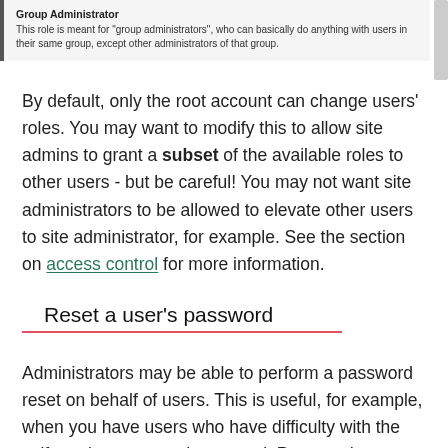Group Administrator
This role is meant for "group administrators", who can basically do anything with users in their same group, except other administrators of that group.
By default, only the root account can change users' roles. You may want to modify this to allow site admins to grant a subset of the available roles to other users - but be careful! You may not want site administrators to be allowed to elevate other users to site administrator, for example. See the section on access control for more information.
Reset a user's password
Administrators may be able to perform a password reset on behalf of users. This is useful, for example, when you have users who have difficulty with the self-service password reset tool. Password resets can be performed via the "Password" button in the user's profile page, or the "change password"